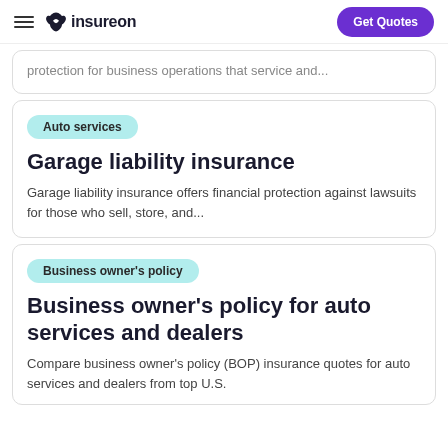insureon | Get Quotes
protection for business operations that service and...
Auto services
Garage liability insurance
Garage liability insurance offers financial protection against lawsuits for those who sell, store, and...
Business owner's policy
Business owner's policy for auto services and dealers
Compare business owner's policy (BOP) insurance quotes for auto services and dealers from top U.S.